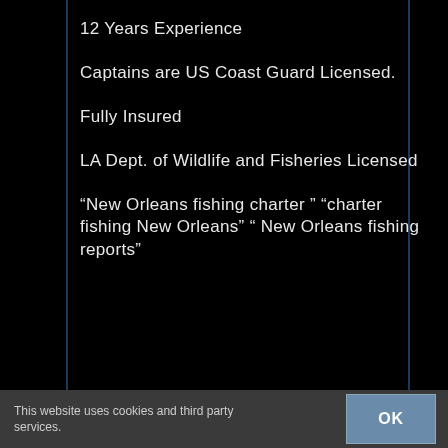12 Years Experience
Captains are US Coast Guard Licensed.
Fully Insured
LA Dept. of Wildlife and Fisheries Licensed
“New Orleans fishing charter ” “charter fishing New Orleans” “ New Orleans fishing reports”
This website uses cookies and third party services.